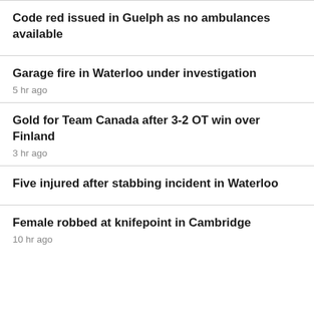Code red issued in Guelph as no ambulances available
Garage fire in Waterloo under investigation
5 hr ago
Gold for Team Canada after 3-2 OT win over Finland
3 hr ago
Five injured after stabbing incident in Waterloo
Female robbed at knifepoint in Cambridge
10 hr ago